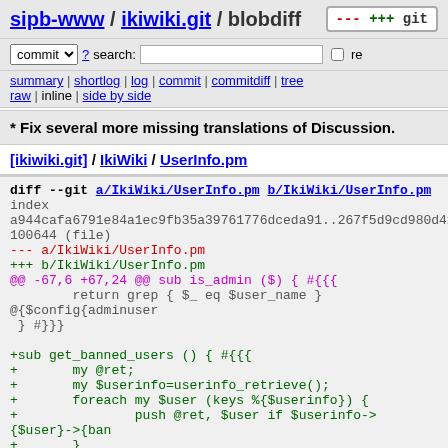sipb-www / ikiwiki.git / blobdiff
commit ? search: re
summary | shortlog | log | commit | commitdiff | tree
raw | inline | side by side
* Fix several more missing translations of Discussion.
[ikiwiki.git] / IkiWiki / UserInfo.pm
[Figure (screenshot): Git diff output showing diff --git a/IkiWiki/UserInfo.pm b/IkiWiki/UserInfo.pm with index hash, file mode 100644, --- a/IkiWiki/UserInfo.pm, +++ b/IkiWiki/UserInfo.pm, @@ -67,6 +67,24 @@ sub is_admin ($) { #{{{ ... return grep { $_ eq $user_name } @{$config{adminuser... } #}}} and new code +sub get_banned_users () { #{{{ +	my @ret; +	my $userinfo=userinfo_retrieve(); +	foreach my $user (keys %{$userinfo}) { +		push @ret, $user if $userinfo->{$user}->{ban +		} +		return @ret; +} #}}}]